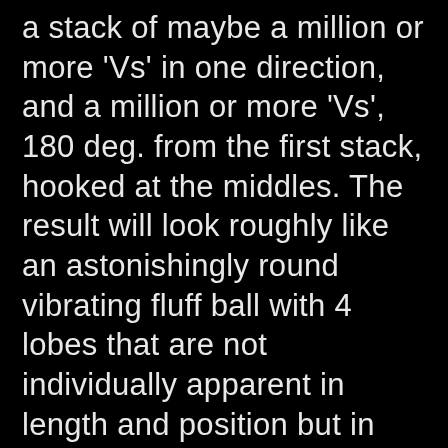a stack of maybe a million or more 'Vs' in one direction, and a million or more 'Vs', 180 deg. from the first stack, hooked at the middles. The result will look roughly like an astonishingly round vibrating fluff ball with 4 lobes that are not individually apparent in length and position but in polarity. This is due to the chisel like ends of the individual (P) all being lined up due to similar orientation. This we call an electron (E). (E) are very